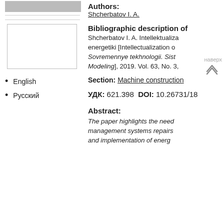[Figure (other): Gray placeholder bar at top left]
[Figure (other): Empty bordered image box on left column]
English
Русский
Authors:
Shcherbatov I. A.
Bibliographic description of
Shcherbatov I. A. Intellektualiza energetiki [Intellectualization o Sovremennye tekhnologii. Sist Modeling], 2019. Vol. 63, No. 3,
Section:
Machine construction
УДК: 621.398  DOI: 10.26731/18
Abstract:
The paper highlights the need management systems repairs and implementation of energ